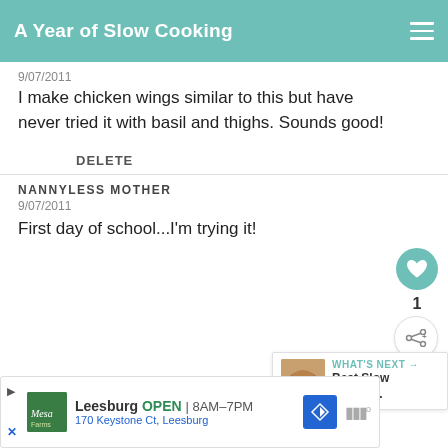A Year of Slow Cooking
9/07/2011
I make chicken wings similar to this but have never tried it with basil and thighs. Sounds good!
DELETE
NANNYLESS MOTHER
9/07/2011
First day of school...I'm trying it!
WHAT'S NEXT → Best Slow Cooker...
Leesburg  OPEN | 8AM–7PM
170 Keystone Ct, Leesburg